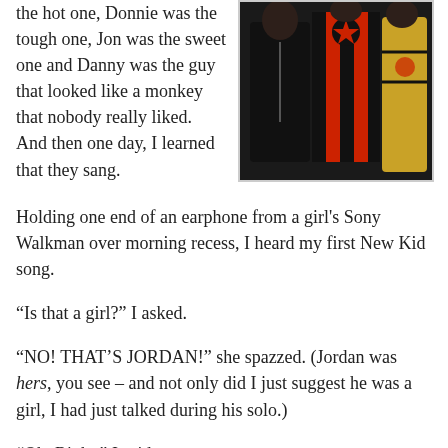[Figure (photo): Photo of New Kids on the Block members performing or posing, wearing black and red outfits with star logos]
the hot one, Donnie was the tough one, Jon was the sweet one and Danny was the guy that looked like a monkey that nobody really liked. And then one day, I learned that they sang.
Holding one end of an earphone from a girl's Sony Walkman over morning recess, I heard my first New Kid song.
“Is that a girl?” I asked.
“NO! THAT’S JORDAN!” she spazzed. (Jordan was hers, you see – and not only did I just suggest he was a girl, I had just talked during his solo.)
“Oh. Right,” I said.
I sat there and listened. And listened some more. And slowly, my nose scrunched and my brow furrowed and I had